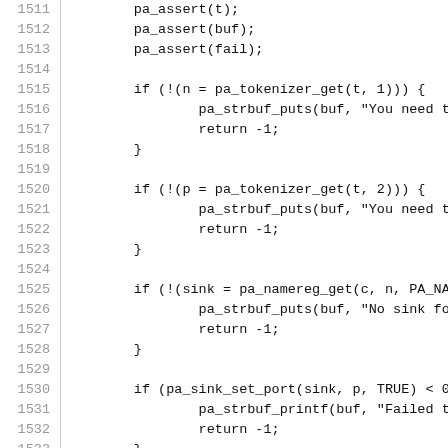Source code listing lines 1511-1540
1511    pa_assert(t);
1512    pa_assert(buf);
1513    pa_assert(fail);
1514
1515    if (!(n = pa_tokenizer_get(t, 1))) {
1516        pa_strbuf_puts(buf, "You need to spec
1517        return -1;
1518    }
1519
1520    if (!(p = pa_tokenizer_get(t, 2))) {
1521        pa_strbuf_puts(buf, "You need to spec
1522        return -1;
1523    }
1524
1525    if (!(sink = pa_namereg_get(c, n, PA_NAME
1526        pa_strbuf_puts(buf, "No sink found by
1527        return -1;
1528    }
1529
1530    if (pa_sink_set_port(sink, p, TRUE) < 0)
1531        pa_strbuf_printf(buf, "Failed to set
1532        return -1;
1533    }
1534
1535    return 0;
1536 }
1537
1538 static int pa_cli_command_source_port(pa_core
1539    const char *n, *p;
1540    pa_source *source;